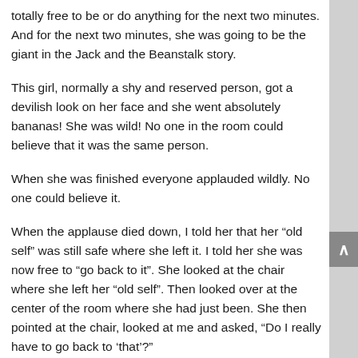totally free to be or do anything for the next two minutes. And for the next two minutes, she was going to be the giant in the Jack and the Beanstalk story.
This girl, normally a shy and reserved person, got a devilish look on her face and she went absolutely bananas! She was wild! No one in the room could believe that it was the same person.
When she was finished everyone applauded wildly. No one could believe it.
When the applause died down, I told her that her “old self” was still safe where she left it. I told her she was now free to “go back to it”. She looked at the chair where she left her “old self”. Then looked over at the center of the room where she had just been. She then pointed at the chair, looked at me and asked, “Do I really have to go back to ‘that’?”